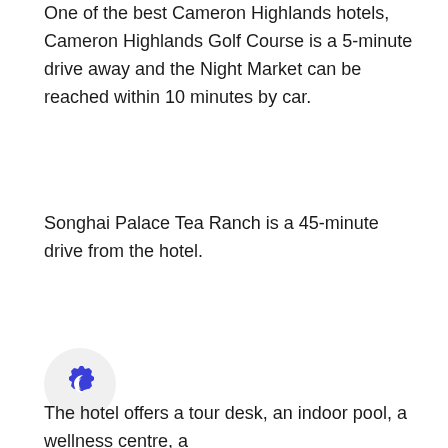One of the best Cameron Highlands hotels, Cameron Highlands Golf Course is a 5-minute drive away and the Night Market can be reached within 10 minutes by car.
Songhai Palace Tea Ranch is a 45-minute drive from the hotel.
[Figure (logo): Blue gear/badge icon with a crescent moon symbol inside, on a light gray circular background]
The hotel offers a tour desk, an indoor pool, a wellness centre, a